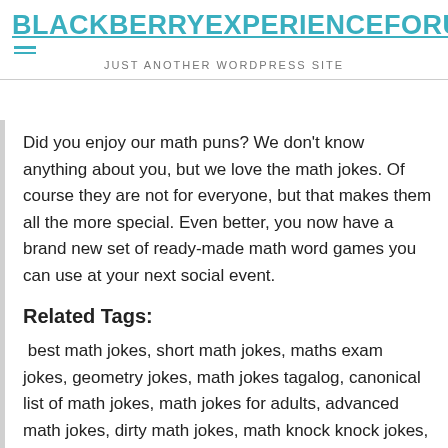BLACKBERRYEXPERIENCEFORU
JUST ANOTHER WORDPRESS SITE
Did you enjoy our math puns? We don't know anything about you, but we love the math jokes. Of course they are not for everyone, but that makes them all the more special. Even better, you now have a brand new set of ready-made math word games you can use at your next social event.
Related Tags:
best math jokes, short math jokes, maths exam jokes, geometry jokes, math jokes tagalog, canonical list of math jokes, math jokes for adults, advanced math jokes, dirty math jokes, math knock knock jokes, math jokes for students, math jokes and puns